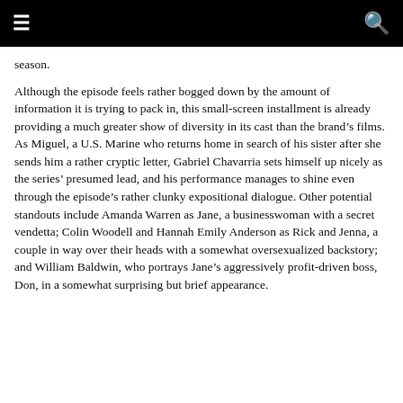≡  🔍
season.
Although the episode feels rather bogged down by the amount of information it is trying to pack in, this small-screen installment is already providing a much greater show of diversity in its cast than the brand's films. As Miguel, a U.S. Marine who returns home in search of his sister after she sends him a rather cryptic letter, Gabriel Chavarria sets himself up nicely as the series' presumed lead, and his performance manages to shine even through the episode's rather clunky expositional dialogue. Other potential standouts include Amanda Warren as Jane, a businesswoman with a secret vendetta; Colin Woodell and Hannah Emily Anderson as Rick and Jenna, a couple in way over their heads with a somewhat oversexualized backstory; and William Baldwin, who portrays Jane's aggressively profit-driven boss, Don, in a somewhat surprising but brief appearance.